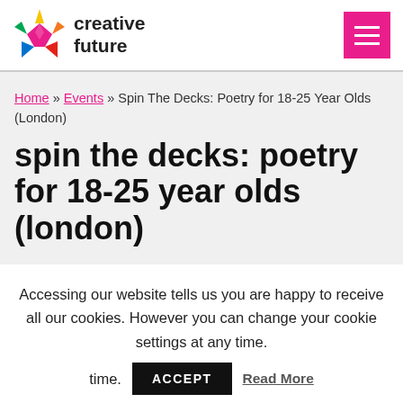creative future — navigation header with hamburger menu
Home » Events » Spin The Decks: Poetry for 18-25 Year Olds (London)
spin the decks: poetry for 18-25 year olds (london)
Accessing our website tells us you are happy to receive all our cookies. However you can change your cookie settings at any time.  ACCEPT  Read More